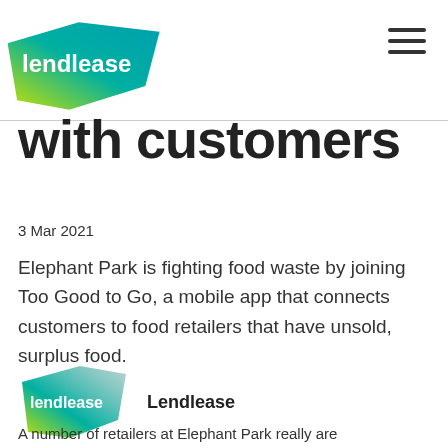lendlease
with customers
3 Mar 2021
Elephant Park is fighting food waste by joining Too Good to Go, a mobile app that connects customers to food retailers that have unsold, surplus food.
[Figure (logo): Lendlease logo with green/teal gradient diamond shape and white text, next to 'Lendlease' in bold black text]
A number of retailers at Elephant Park really are